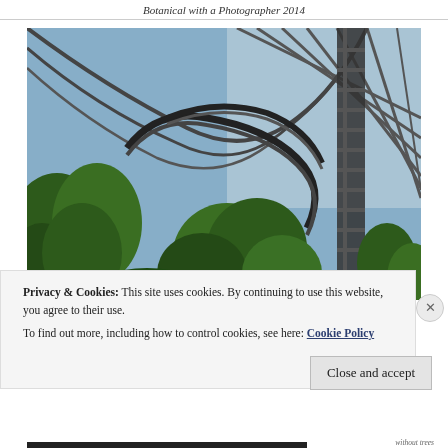Botanical with a Photographer 2014
[Figure (photo): Interior view of a large glass-domed greenhouse or conservatory (likely Gardens by the Bay, Singapore), looking upward at sweeping curved metal structural ribs forming the roof. A winding elevated walkway spirals through lush green tropical trees and ferns. Natural light streams through the glass panels above.]
Privacy & Cookies: This site uses cookies. By continuing to use this website, you agree to their use.
To find out more, including how to control cookies, see here: Cookie Policy
Close and accept